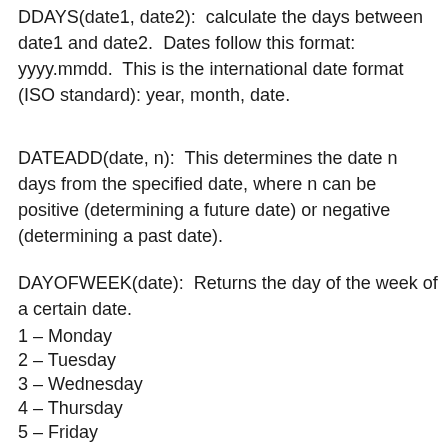DDAYS(date1, date2):  calculate the days between date1 and date2.  Dates follow this format: yyyy.mmdd.  This is the international date format (ISO standard): year, month, date.
DATEADD(date, n):  This determines the date n days from the specified date, where n can be positive (determining a future date) or negative (determining a past date).
DAYOFWEEK(date):  Returns the day of the week of a certain date.
1 – Monday
2 – Tuesday
3 – Wednesday
4 – Thursday
5 – Friday
6 – Saturday
7 – Sunday